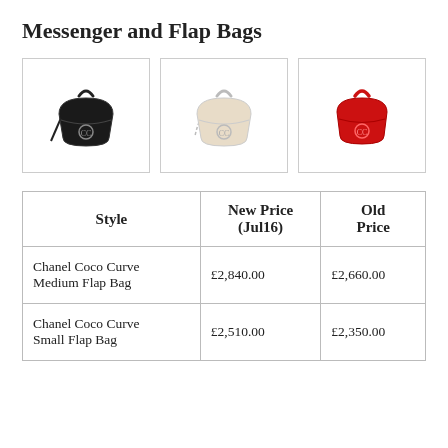Messenger and Flap Bags
[Figure (photo): Three Chanel Coco Curve bags side by side: black on left, cream/beige in center, red on right, each with top handle and CC logo hardware]
| Style | New Price (Jul16) | Old Price |
| --- | --- | --- |
| Chanel Coco Curve Medium Flap Bag | £2,840.00 | £2,660.00 |
| Chanel Coco Curve Small Flap Bag | £2,510.00 | £2,350.00 |